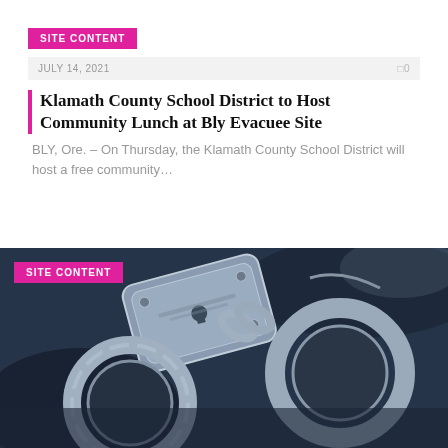SITE CONTENT
JULY 14, 2021
0
Klamath County School District to Host Community Lunch at Bly Evacuee Site
BLY, Ore. – On Thursday, the Klamath County School District will host a free community…
[Figure (photo): Close-up photograph of silver handcuffs on a dark blue surface]
SITE CONTENT